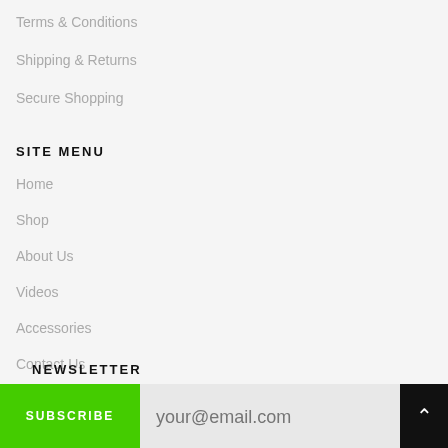Terms & Conditions
Shipping & Returns
Secure Shopping
SITE MENU
Home
Shop
About Us
Videos
Accessories
Contact Us
NEWSLETTER
SUBSCRIBE | your@email.com